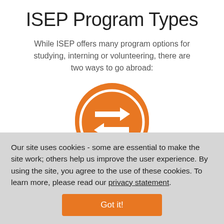ISEP Program Types
While ISEP offers many program options for studying, interning or volunteering, there are two ways to go abroad:
[Figure (illustration): Orange circle with white double-headed arrow icon (exchange/transfer symbol) centered on the page]
ISEP Exch...
Our site uses cookies - some are essential to make the site work; others help us improve the user experience. By using the site, you agree to the use of these cookies. To learn more, please read our privacy statement.
Got it!